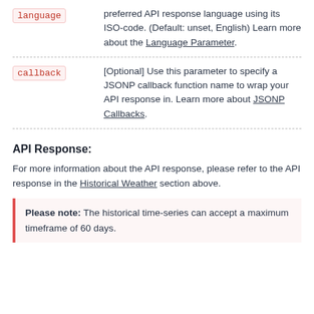| Parameter | Description |
| --- | --- |
| language | preferred API response language using its ISO-code. (Default: unset, English) Learn more about the Language Parameter. |
| callback | [Optional] Use this parameter to specify a JSONP callback function name to wrap your API response in. Learn more about JSONP Callbacks. |
API Response:
For more information about the API response, please refer to the API response in the Historical Weather section above.
Please note: The historical time-series can accept a maximum timeframe of 60 days.